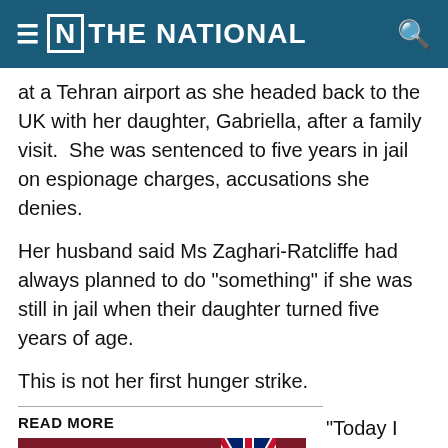THE NATIONAL
at a Tehran airport as she headed back to the UK with her daughter, Gabriella, after a family visit.  She was sentenced to five years in jail on espionage charges, accusations she denies.
Her husband said Ms Zaghari-Ratcliffe had always planned to do "something" if she was still in jail when their daughter turned five years of age.
This is not her first hunger strike.
READ MORE
[Figure (photo): Photo of a person in front of a UK Foreign & Commonwealth Office backdrop with a Union Jack flag]
"Today I received a phone call from Nazanin in prison. She had